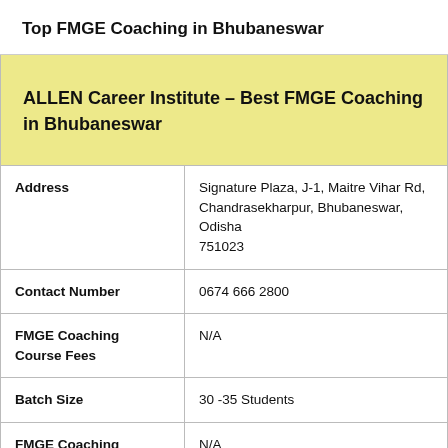Top FMGE Coaching in Bhubaneswar
| ALLEN Career Institute – Best FMGE Coaching in Bhubaneswar |  |
| Address | Signature Plaza, J-1, Maitre Vihar Rd, Chandrasekharpur, Bhubaneswar, Odisha 751023 |
| Contact Number | 0674 666 2800 |
| FMGE Coaching Course Fees | N/A |
| Batch Size | 30 -35 Students |
| FMGE Coaching | N/A |